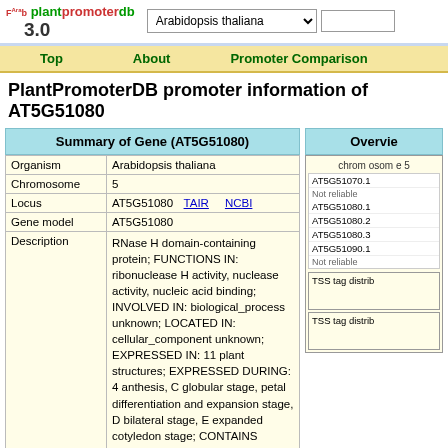plantpromoterdb 3.0 — Arabidopsis thaliana dropdown — search input
Top | About | Promoter Comparison
PlantPromoterDB promoter information of AT5G51080
Summary of Gene (AT5G51080)
| Field | Value |
| --- | --- |
| Organism | Arabidopsis thaliana |
| Chromosome | 5 |
| Locus | AT5G51080  TAIR    NCBI |
| Gene model | AT5G51080 |
| Description | RNase H domain-containing protein; FUNCTIONS IN: ribonuclease H activity, nuclease activity, nucleic acid binding; INVOLVED IN: biological_process unknown; LOCATED IN: cellular_component unknown; EXPRESSED IN: 11 plant structures; EXPRESSED DURING: 4 anthesis, C globular stage, petal differentiation and expansion stage, D bilateral stage, E expanded cotyledon stage; CONTAINS InterPro DOMAIN/s: Ribosomal protein L9 N-terminal-like (InterPro:IPR009027), Polynucleotidyl transferase, Ribonuclease H fold (InterPro:IPR012337), Ribonuclease H (InterPro:IPR002156); BEST Arabidopsis thaliana protein match is: RNase H domain- |
Overview
chromosome 5
AT5G51070.1 Not reliable
AT5G51080.1
AT5G51080.2
AT5G51080.3
AT5G51090.1 Not reliable
TSS tag distrib
TSS tag distrib